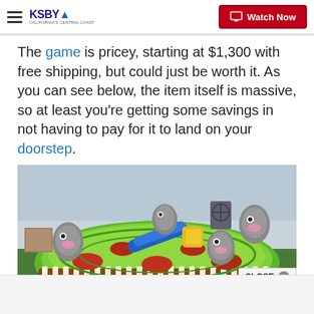KSBY - California's Central Coast | Watch Now
The game is pricey, starting at $1,300 with free shipping, but could just be worth it. As you can see below, the item itself is massive, so at least you're getting some savings in not having to pay for it to land on your doorstep.
[Figure (photo): Large inflatable Whack-a-Mole style game with green inflatable surface, cartoon mole characters, and a rotating hammer/bat mechanism, photographed in a warehouse or indoor facility.]
CLOSE x